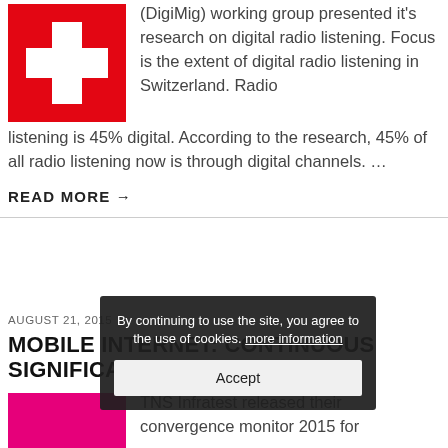[Figure (logo): Swiss flag / cross logo in red and white]
(DigiMig) working group presented it's research on digital radio listening. Focus is the extent of digital radio listening in Switzerland. Radio listening is 45% digital. According to the research, 45% of all radio listening now is through digital channels. …
READ MORE →
AUGUST 21, 2015
MOBILE INTERNET: CONTINUOUS SIGNIFICANT…
[Figure (illustration): Pink/magenta colored rectangle logo or image placeholder]
TNS Infratest released their convergence monitor 2015 for
By continuing to use the site, you agree to the use of cookies. more information
Accept